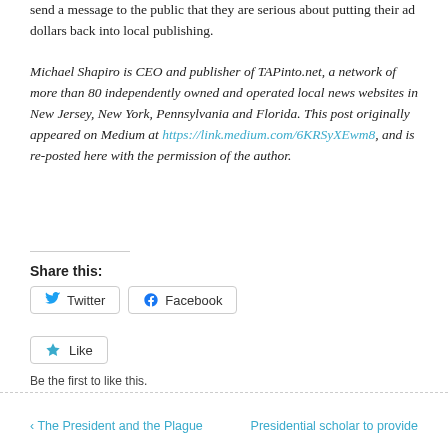send a message to the public that they are serious about putting their ad dollars back into local publishing.
Michael Shapiro is CEO and publisher of TAPinto.net, a network of more than 80 independently owned and operated local news websites in New Jersey, New York, Pennsylvania and Florida. This post originally appeared on Medium at https://link.medium.com/6KRSyXEwm8, and is re-posted here with the permission of the author.
Share this:
Twitter
Facebook
Like
Be the first to like this.
‹ The President and the Plague
Presidential scholar to provide